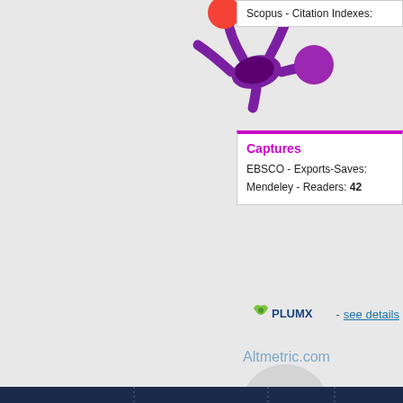[Figure (logo): Altmetric donut-style splash logo with orange, green, purple circles]
Scopus - Citation Indexes:
Captures
EBSCO - Exports-Saves:
Mendeley - Readers: 42
[Figure (logo): PlumX logo with leaf icon followed by '- see details' link]
Altmetric.com
[Figure (other): Grey circle with question mark inside (Altmetric score badge placeholder)]
Actions (login required)
[Figure (other): View Item icon (magnifying glass over document)]
View Item